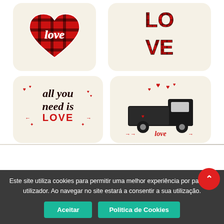[Figure (photo): Product image showing 4 Valentine's Day decorative throw pillows: top-left with plaid heart and 'love', top-right with plaid 'LOVE' letters stacked, bottom-left with 'all you need is LOVE' text, bottom-right with black truck and hearts with 'love' text. Below pillows is a room scene showing 'Valentines Decor' text with shelf display.]
Este site utiliza cookies para permitir uma melhor experiência por parte do utilizador. Ao navegar no site estará a consentir a sua utilização.
Aceitar
Politica de Cookies